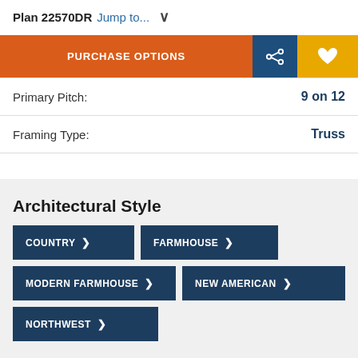Plan 22570DR Jump to...
PURCHASE OPTIONS
Primary Pitch: 9 on 12
Framing Type: Truss
Architectural Style
COUNTRY
FARMHOUSE
MODERN FARMHOUSE
NEW AMERICAN
NORTHWEST